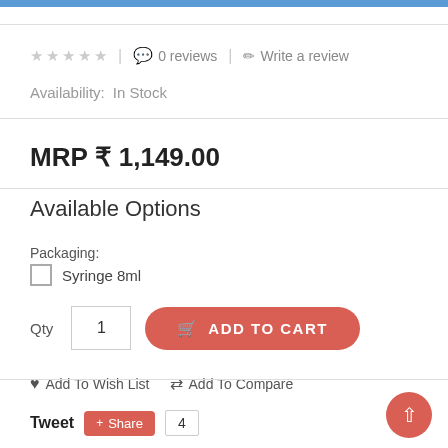★ ★ ★ ★ ★ | 0 reviews | Write a review
Availability: In Stock
MRP ₹ 1,149.00
Available Options
Packaging:
Syringe 8ml
Qty  1  ADD TO CART
♥ Add To Wish List   ⇄ Add To Compare
Tweet  Share  4